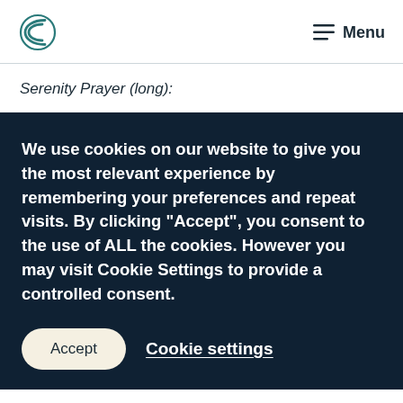C Menu
Serenity Prayer (long):
We use cookies on our website to give you the most relevant experience by remembering your preferences and repeat visits. By clicking “Accept”, you consent to the use of ALL the cookies. However you may visit Cookie Settings to provide a controlled consent.
Accept   Cookie settings